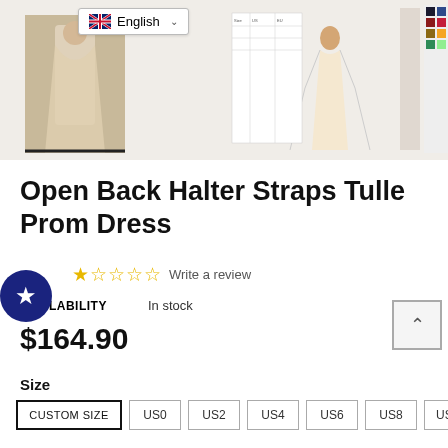[Figure (screenshot): E-commerce product page showing dress thumbnails, language selector, product title, rating, availability, price and size selector]
Open Back Halter Straps Tulle Prom Dress
Write a review
AVAILABILITY   In stock
$164.90
Size
CUSTOM SIZE
US0
US2
US4
US6
US8
US10